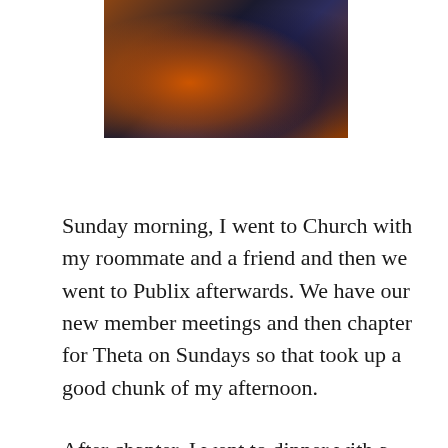[Figure (photo): A photo showing people, one wearing an orange shirt, dark background.]
Sunday morning, I went to Church with my roommate and a friend and then we went to Publix afterwards. We have our new member meetings and then chapter for Theta on Sundays so that took up a good chunk of my afternoon.
After chapter, I went to dinner with a friend and then sat on the porch of my residence hall to call my family, which is always a good part of my day!
They let us know Sunday night that we weren't going